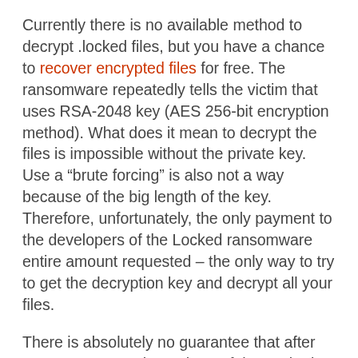Currently there is no available method to decrypt .locked files, but you have a chance to recover encrypted files for free. The ransomware repeatedly tells the victim that uses RSA-2048 key (AES 256-bit encryption method). What does it mean to decrypt the files is impossible without the private key. Use a “brute forcing” is also not a way because of the big length of the key. Therefore, unfortunately, the only payment to the developers of the Locked ransomware entire amount requested – the only way to try to get the decryption key and decrypt all your files.
There is absolutely no guarantee that after pay a ransom to the authors of the Locked virus, they will provide the necessary key to decrypt your files. In addition, you must understand that paying money to the cyber criminals, you are